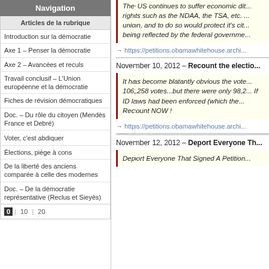Navigation
Articles de la rubrique
Introduction sur la démocratie
Axe 1 – Penser la démocratie
Axe 2 – Avancées et reculs
Travail conclusif – L'Union européenne et la démocratie
Fiches de révision démocratiques
Doc. – Du rôle du citoyen (Mendès France et Debré)
Voter, c'est abdiquer
Élections, piège à cons
De la liberté des anciens comparée à celle des modernes
Doc. – De la démocratie représentative (Reclus et Sieyès)
0 | 10 | 20
The US continues to suffer economic di... rights such as the NDAA, the TSA, etc. ... union, and to do so would protect it's cit... being reflected by the federal governme...
→ https://petitions.obamawhitehouse.archi...
November 10, 2012 – Recount the electio...
It has become blatantly obvious the vote... 106,258 votes...but there were only 98,2... If ID laws had been enforced (which the... Recount NOW !
→ https://petitions.obamawhitehouse.archi...
November 12, 2012 – Deport Everyone Th...
Deport Everyone That Signed A Petition...